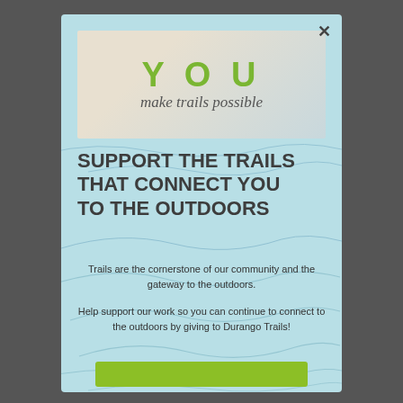[Figure (illustration): Popup modal over a blurred outdoor trail photo background. The modal has a light blue/teal background with topographic line patterns. At top is a banner image showing 'YOU make trails possible' text. Below is a bold dark title 'SUPPORT THE TRAILS THAT CONNECT YOU TO THE OUTDOORS'. Then two paragraphs of body text and a green support button at the bottom. An X close button is in the top right corner of the modal.]
SUPPORT THE TRAILS THAT CONNECT YOU TO THE OUTDOORS
Trails are the cornerstone of our community and the gateway to the outdoors.
Help support our work so you can continue to connect to the outdoors by giving to Durango Trails!